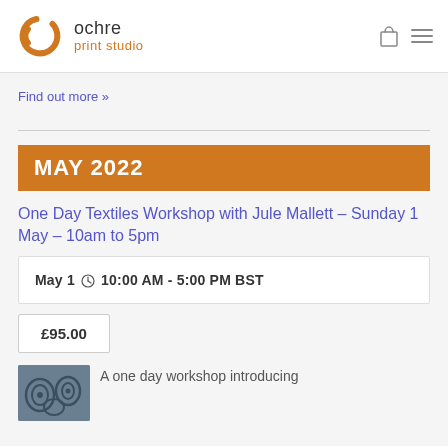[Figure (logo): Ochre Print Studio logo: orange circular brushstroke with 'ochre' in dark text and 'print studio' in orange text]
Find out more »
MAY 2022
One Day Textiles Workshop with Jule Mallett – Sunday 1 May – 10am to 5pm
May 1 @ 10:00 AM - 5:00 PM BST
£95.00
A one day workshop introducing